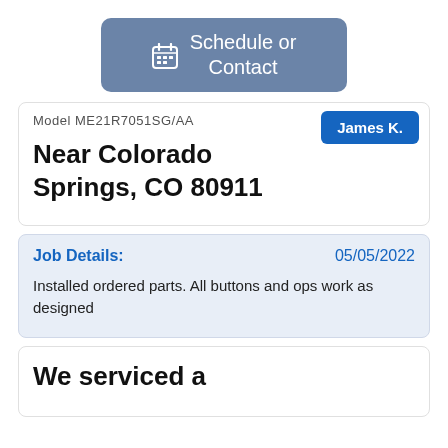[Figure (other): Blue-grey rounded button with calendar icon and text 'Schedule or Contact']
Model ME21R7051SG/AA
James K.
Near Colorado Springs, CO 80911
Job Details:
05/05/2022
Installed ordered parts. All buttons and ops work as designed
We serviced a